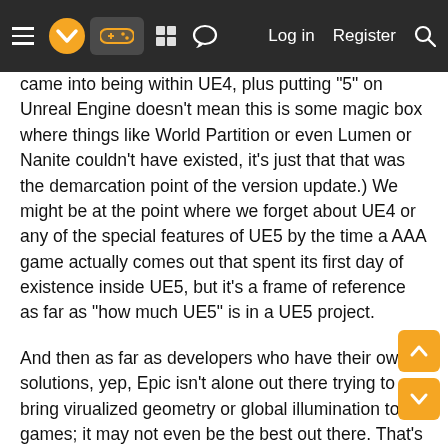Navigation bar with hamburger menu, logo, gamepad icon, grid icon, chat icon, Log in, Register, Search
came into being within UE4, plus putting "5" on Unreal Engine doesn't mean this is some magic box where things like World Partition or even Lumen or Nanite couldn't have existed, it's just that that was the demarcation point of the version update.) We might be at the point where we forget about UE4 or any of the special features of UE5 by the time a AAA game actually comes out that spent its first day of existence inside UE5, but it's a frame of reference as far as "how much UE5" is in a UE5 project.
And then as far as developers who have their own solutions, yep, Epic isn't alone out there trying to bring virualized geometry or global illumination to big games; it may not even be the best out there. That's one of the reasons I make the distinction with STALKER 2, that they say, "we're running on UE5", but the timeline doesn't work out for people to look at everything shown of the game and assume it's all UE5. Most of what we've seen, if not everything in preview footage so far, has been in UE4, with all the custom work by the team that they've been creating for years now. "Running on UE5"